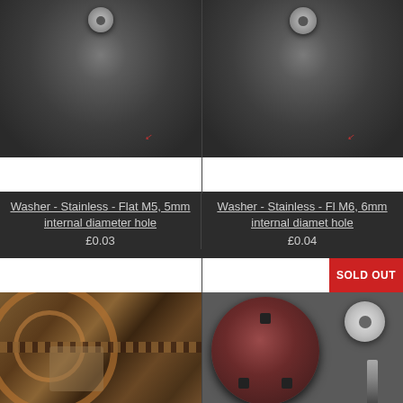[Figure (photo): Close-up photo of a stainless steel flat washer M5 on a dark metallic surface, with a small red marking visible]
[Figure (photo): Close-up photo of a stainless steel flat washer M6 on a dark metallic surface, with a small red marking visible]
Washer - Stainless - Flat M5, 5mm internal diameter hole
£0.03
Washer - Stainless - Fl... M6, 6mm internal diamet... hole
£0.04
[Figure (photo): Photo of mechanical gears and chain drive system, showing bronze/copper colored sprockets and chain in engine bay]
[Figure (photo): Photo of a circular disc/locking plate with hexagonal holes, alongside a bolt and washer, on grey surface. Marked SOLD OUT.]